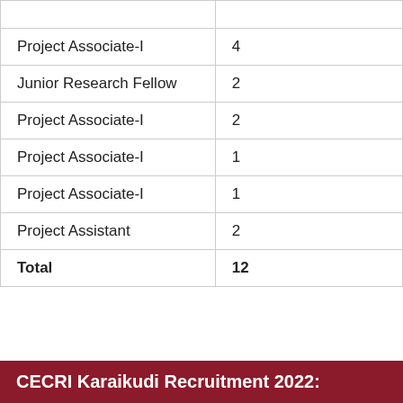| Post | Vacancy |
| --- | --- |
| Project Associate-I | 4 |
| Junior Research Fellow | 2 |
| Project Associate-I | 2 |
| Project Associate-I | 1 |
| Project Associate-I | 1 |
| Project Assistant | 2 |
| Total | 12 |
CECRI Karaikudi Recruitment 2022: